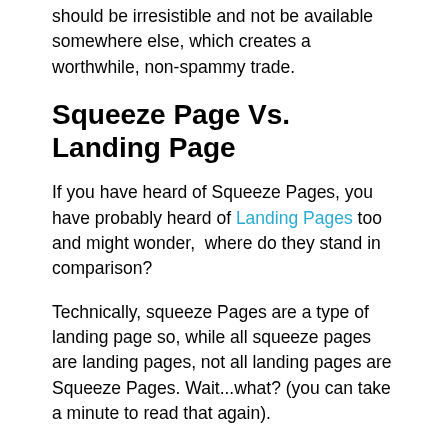should be irresistible and not be available somewhere else, which creates a worthwhile, non-spammy trade.
Squeeze Page Vs. Landing Page
If you have heard of Squeeze Pages, you have probably heard of Landing Pages too and might wonder,  where do they stand in comparison?
Technically, squeeze Pages are a type of landing page so, while all squeeze pages are landing pages, not all landing pages are Squeeze Pages. Wait...what? (you can take a minute to read that again).
What squeeze pages and landing pages have in common is that both are single page websites with one specific goal, but that is where the similarities end.